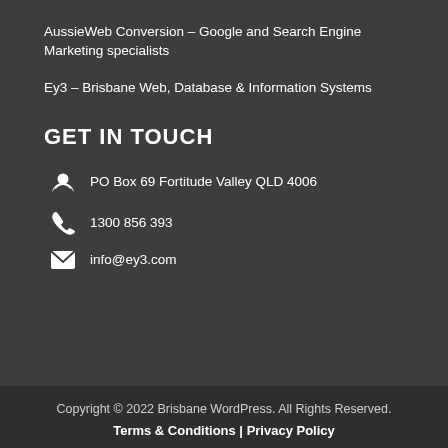AussieWeb Conversion – Google and Search Engine Marketing specialists
Ey3 – Brisbane Web, Database & Information Systems
GET IN TOUCH
PO Box 69 Fortitude Valley QLD 4006
1300 856 393
info@ey3.com
Copyright © 2022 Brisbane WordPress. All Rights Reserved.
Terms & Conditions | Privacy Policy